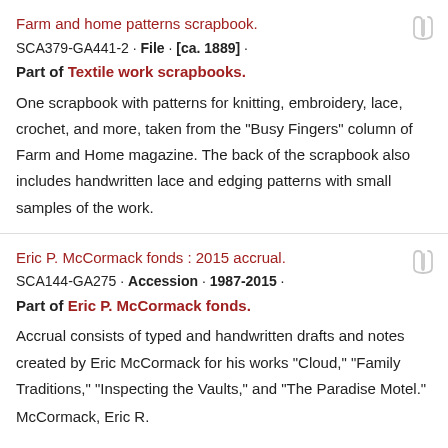Farm and home patterns scrapbook.
SCA379-GA441-2 · File · [ca. 1889] ·
Part of Textile work scrapbooks.
One scrapbook with patterns for knitting, embroidery, lace, crochet, and more, taken from the "Busy Fingers" column of Farm and Home magazine. The back of the scrapbook also includes handwritten lace and edging patterns with small samples of the work.
Eric P. McCormack fonds : 2015 accrual.
SCA144-GA275 · Accession · 1987-2015 ·
Part of Eric P. McCormack fonds.
Accrual consists of typed and handwritten drafts and notes created by Eric McCormack for his works "Cloud," "Family Traditions," "Inspecting the Vaults," and "The Paradise Motel."
McCormack, Eric R.